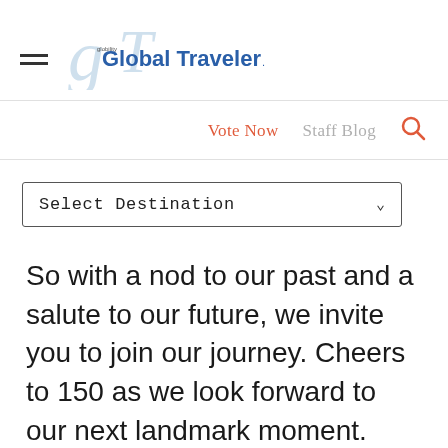Global Traveler
Vote Now   Staff Blog
Select Destination
So with a nod to our past and a salute to our future, we invite you to join our journey. Cheers to 150 as we look forward to our next landmark moment.